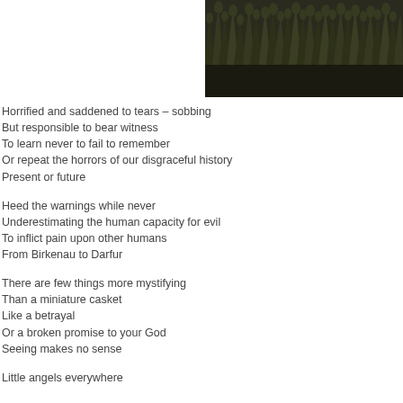[Figure (photo): Photo of grass or crop plants silhouetted against a dark sky, positioned in the upper right of the page.]
Horrified and saddened to tears – sobbing
But responsible to bear witness
To learn never to fail to remember
Or repeat the horrors of our disgraceful history
Present or future
Heed the warnings while never
Underestimating the human capacity for evil
To inflict pain upon other humans
From Birkenau to Darfur
There are few things more mystifying
Than a miniature casket
Like a betrayal
Or a broken promise to your God
Seeing makes no sense
Little angels everywhere